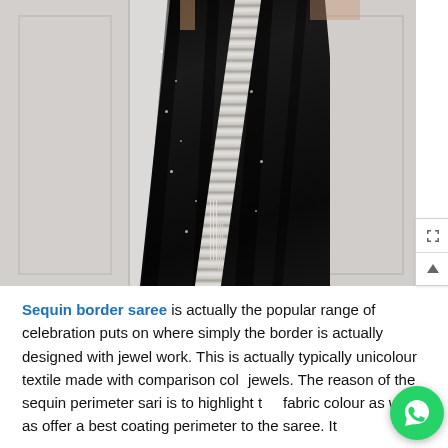[Figure (photo): A person wearing a black sequin border saree with white/silver sequin border stripe, standing against a white panel wall background. The garment is predominantly black with sparkling sequins and a decorative silver border running diagonally.]
Sequin border saree is actually the popular range of celebration puts on where simply the border is actually designed with jewel work. This is actually typically unicolour textile made with comparison colour jewels. The reason of the sequin perimeter sari is to highlight the fabric colour as well as offer a best coating perimeter to the saree. It